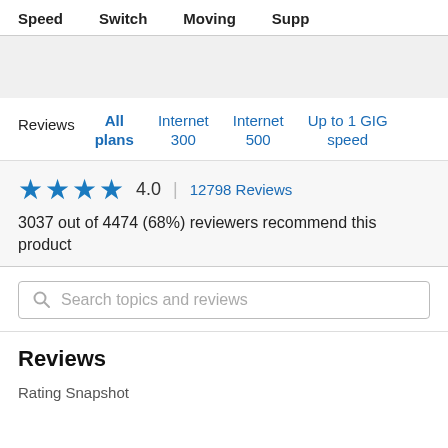Speed   Switch   Moving   Supp
Reviews   All plans   Internet 300   Internet 500   Up to 1 GIG speed
★★★★  4.0  |  12798 Reviews
3037 out of 4474 (68%) reviewers recommend this product
Search topics and reviews
Reviews
Rating Snapshot